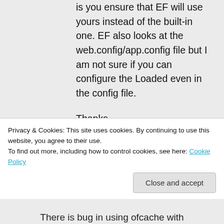is you ensure that EF will use yours instead of the built-in one. EF also looks at the web.config/app.config file but I am not sure if you can configure the Loaded even in the config file.

Thanks,
Pawel
★ Like
Privacy & Cookies: This site uses cookies. By continuing to use this website, you agree to their use.
To find out more, including how to control cookies, see here: Cookie Policy
Close and accept
There is bug in using ofcache with